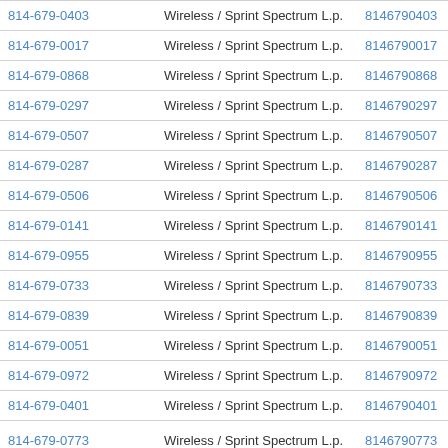| Phone | Carrier | Number | Action |
| --- | --- | --- | --- |
| 814-679-0403 | Wireless / Sprint Spectrum L.p. | 8146790403 | View |
| 814-679-0017 | Wireless / Sprint Spectrum L.p. | 8146790017 | View |
| 814-679-0868 | Wireless / Sprint Spectrum L.p. | 8146790868 | View |
| 814-679-0297 | Wireless / Sprint Spectrum L.p. | 8146790297 | View |
| 814-679-0507 | Wireless / Sprint Spectrum L.p. | 8146790507 | View |
| 814-679-0287 | Wireless / Sprint Spectrum L.p. | 8146790287 | View |
| 814-679-0506 | Wireless / Sprint Spectrum L.p. | 8146790506 | View |
| 814-679-0141 | Wireless / Sprint Spectrum L.p. | 8146790141 | View |
| 814-679-0955 | Wireless / Sprint Spectrum L.p. | 8146790955 | View |
| 814-679-0733 | Wireless / Sprint Spectrum L.p. | 8146790733 | View |
| 814-679-0839 | Wireless / Sprint Spectrum L.p. | 8146790839 | View |
| 814-679-0051 | Wireless / Sprint Spectrum L.p. | 8146790051 | View |
| 814-679-0972 | Wireless / Sprint Spectrum L.p. | 8146790972 | View |
| 814-679-0401 | Wireless / Sprint Spectrum L.p. | 8146790401 | View |
| 814-679-0773 | Wireless / Sprint Spectrum L.p. | 8146790773 | View |
| 814-679-0000 | Wireless / Sprint Spectrum L.p. | 8146790000 | View |
| 814-679-0640 | Wireless / Sprint Spectrum L.p. | 8146790640 | View |
| 814-679-0249 | Wireless / Sprint Spectrum L.p. | 8146790249 | View |